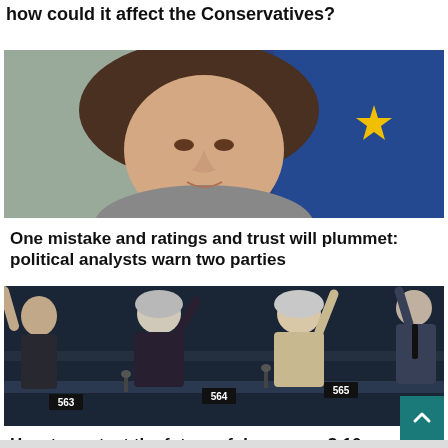how could it affect the Conservatives?
[Figure (photo): Portrait of a woman with brown hair in front of flags including EU and red flag]
One mistake and ratings and trust will plummet: political analysts warn two parties
[Figure (photo): European Parliament session with members raising hands to vote, seat numbers 563, 564, 565 visible]
How to protect the future of democracy? 10 action points